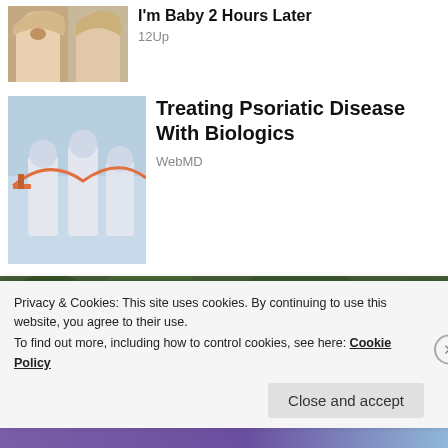[Figure (photo): Thumbnail of a woman's face with blonde hair (partially cut off at top)]
I'm Baby 2 Hours Later
12Up
[Figure (photo): Medical vials/syringes image for article about biologics]
Treating Psoriatic Disease With Biologics
WebMD
[Figure (photo): Large photo of an overweight cat on grass]
Privacy & Cookies: This site uses cookies. By continuing to use this website, you agree to their use.
To find out more, including how to control cookies, see here: Cookie Policy
Close and accept